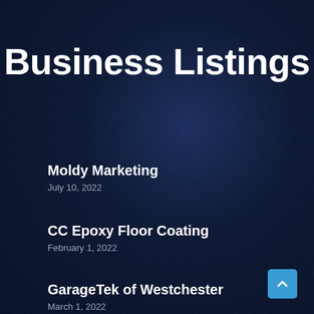Business Listings
Moldy Marketing
July 10, 2022
CC Epoxy Floor Coating
February 1, 2022
GarageTek of Westchester
March 1, 2022